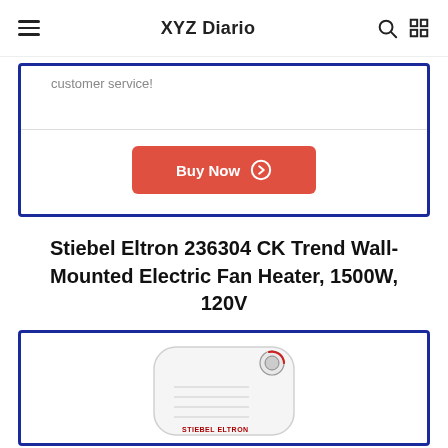XYZ Diario
customer service!
Buy Now
Stiebel Eltron 236304 CK Trend Wall-Mounted Electric Fan Heater, 1500W, 120V
[Figure (photo): Photo of Stiebel Eltron wall-mounted electric fan heater, white unit with red knob dial on top right corner and brand logo on front]